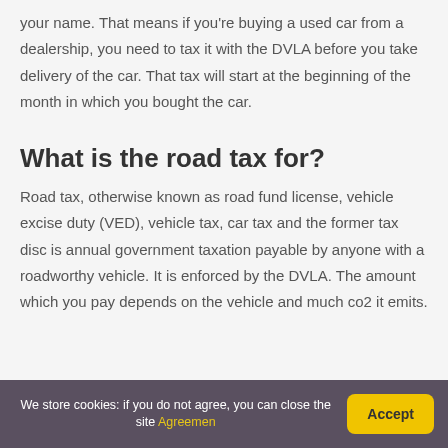your name. That means if you're buying a used car from a dealership, you need to tax it with the DVLA before you take delivery of the car. That tax will start at the beginning of the month in which you bought the car.
What is the road tax for?
Road tax, otherwise known as road fund license, vehicle excise duty (VED), vehicle tax, car tax and the former tax disc is annual government taxation payable by anyone with a roadworthy vehicle. It is enforced by the DVLA. The amount which you pay depends on the vehicle and much co2 it emits.
We store cookies: if you do not agree, you can close the site Agreemen